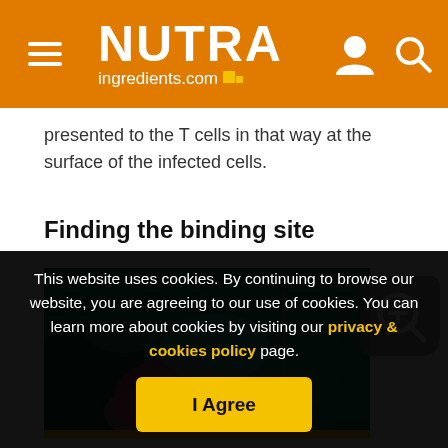NUTRAingredients.com
presented to the T cells in that way at the surface of the infected cells.
Finding the binding site
[Figure (photo): Microscopy image showing molecular binding structure with green and pink/red colors]
This website uses cookies. By continuing to browse our website, you are agreeing to our use of cookies. You can learn more about cookies by visiting our privacy & cookies policy page.